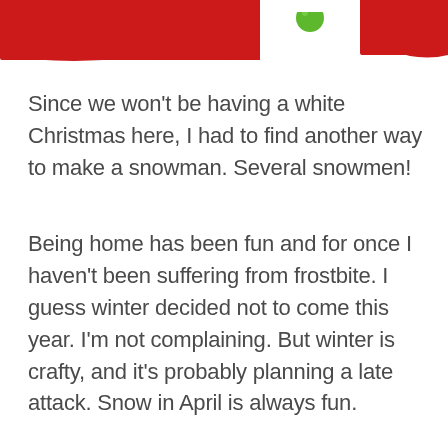[Figure (photo): Partial top of image showing Christmas-themed items with red background and green circular object, cropped at top of page.]
Since we won't be having a white Christmas here, I had to find another way to make a snowman. Several snowmen!
Being home has been fun and for once I haven't been suffering from frostbite. I guess winter decided not to come this year. I'm not complaining. But winter is crafty, and it's probably planning a late attack. Snow in April is always fun.